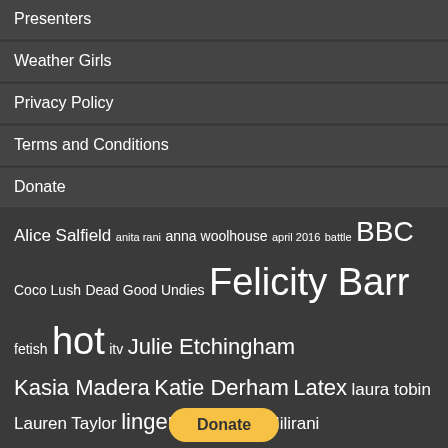Presenters
Weather Girls
Privacy Policy
Terms and Conditions
Donate
[Figure (infographic): Tag cloud with words of varying sizes representing topics: Alice Salfield, anita rani, anna woolhouse, april 2016, battle, BBC, Coco Lush, Dead Good Undies, Felicity Barr, fetish, hot, itv, Julie Etchingham, Kasia Madera, Katie Derham, Latex, laura tobin, Lauren Taylor, lingerie, Lucrezia Milirani, Lucrezia Millarini, lucy verasamy, Mary Nightingale, mary nightinglae, may 2016, naga munchetty, news, presenter, presenters, rachel riley, radio, reporter, sexiest, sexiest presenter, sexiest presenter 2016, sexiest presenters, sexy, sky, stacey soloman, Susanna Reid, tv, uk, victoria fritz, vote, weather girls]
Donate